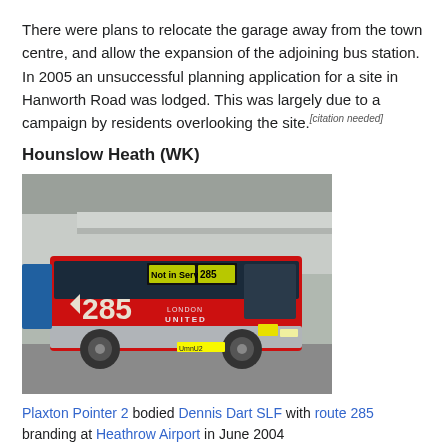There were plans to relocate the garage away from the town centre, and allow the expansion of the adjoining bus station. In 2005 an unsuccessful planning application for a site in Hanworth Road was lodged. This was largely due to a campaign by residents overlooking the site.[citation needed]
Hounslow Heath (WK)
[Figure (photo): A red London United Plaxton Pointer 2 bodied Dennis Dart SLF bus with route 285 branding and 'Not in Service' displayed, photographed at Heathrow Airport in June 2004.]
Plaxton Pointer 2 bodied Dennis Dart SLF with route 285 branding at Heathrow Airport in June 2004
As at June 2020, Hounslow Heath garage operate routes 105, 116, 216, 400, 411, 423, 635, 663, 696, 697, KU1, KU2 and KU3.[15]